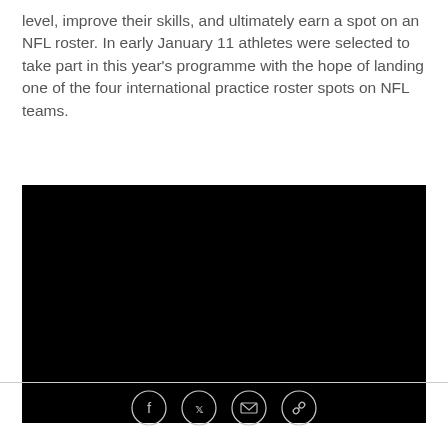level, improve their skills, and ultimately earn a spot on an NFL roster. In early January 11 athletes were selected to take part in this year's programme with the hope of landing one of the four international practice roster spots on NFL teams.
[Figure (photo): A black video player embed rectangle]